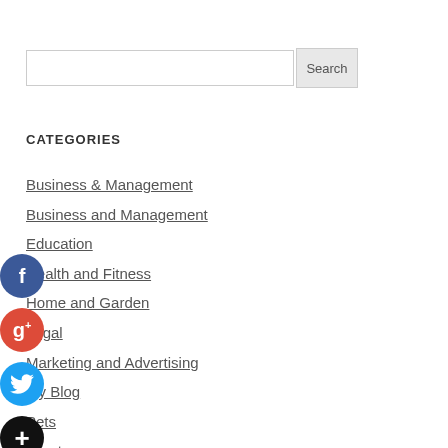Search
CATEGORIES
Business & Management
Business and Management
Education
Health and Fitness
Home and Garden
Legal
Marketing and Advertising
My Blog
Pets
Sports
Technology and Gadgets